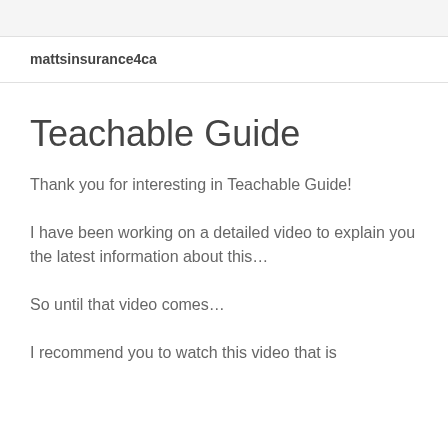mattsinsurance4ca
Teachable Guide
Thank you for interesting in Teachable Guide!
I have been working on a detailed video to explain you the latest information about this…
So until that video comes…
I recommend you to watch this video that is